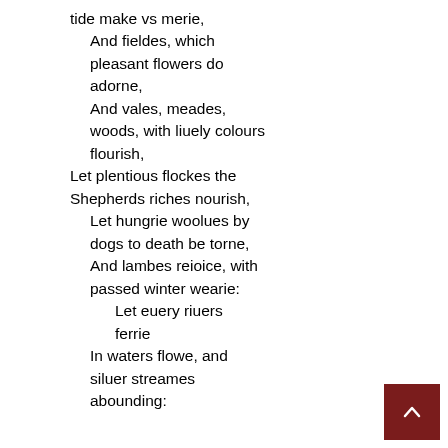tide make vs merie,
And fieldes, which pleasant flowers do adorne,
And vales, meades, woods, with liuely colours flourish,
Let plentious flockes the Shepherds riches nourish,
Let hungrie woolues by dogs to death be torne,
And lambes reioice, with passed winter wearie:
Let euery riuers ferrie
In waters flowe, and siluer streames abounding: